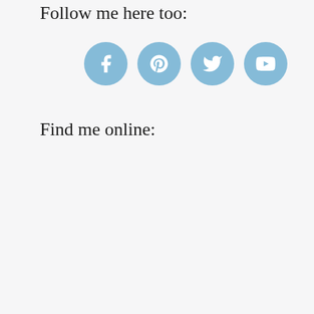Follow me here too:
[Figure (illustration): Four social media icon circles (Facebook, Pinterest, Twitter, YouTube) in light blue]
Find me online: